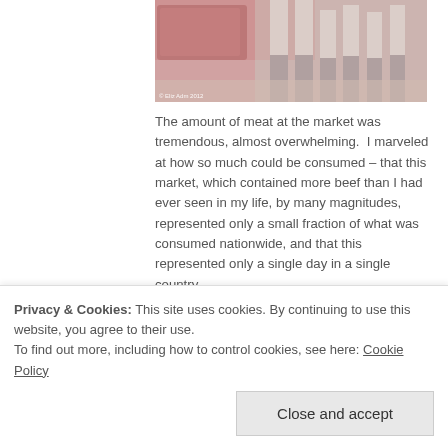[Figure (photo): Market stall showing meat display and people's legs in boots, with a watermark reading © Eliz Adm 2012]
The amount of meat at the market was tremendous, almost overwhelming.  I marveled at how so much could be consumed – that this market, which contained more beef than I had ever seen in my life, by many magnitudes, represented only a small fraction of what was consumed nationwide, and that this represented only a single day in a single country.
[Figure (photo): Indoor meat market stall with large cuts of beef, a vendor and child visible, surrounded by market goods and signage]
Privacy & Cookies: This site uses cookies. By continuing to use this website, you agree to their use.
To find out more, including how to control cookies, see here: Cookie Policy
Close and accept